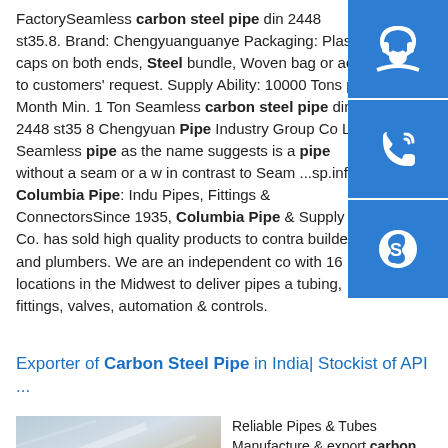FactorySeamless carbon steel pipe din 2448 st35.8. Brand: Chengyuanguanye Packaging: Plastic caps on both ends, Steel bundle, Woven bag or acc. to customers' request. Supply Ability: 10000 Tons per Month Min. 1 Ton Seamless carbon steel pipe din 2448 st35 8 Chengyuan Pipe Industry Group Co Ltd Seamless pipe as the name suggests is a pipe without a seam or a weld, in contrast to Seam ...sp.info Columbia Pipe: Industrial Pipes, Fittings & ConnectorsSince 1935, Columbia Pipe & Supply Co. has sold high quality products to contractors, builders and plumbers. We are an independent company with 16 locations in the Midwest to deliver pipes and tubing, fittings, valves, automation & controls.
[Figure (other): Blue sidebar icons: headset/customer service, phone/call, Skype logo]
Exporter of Carbon Steel Pipe in India| Stockist of API ...
[Figure (photo): Photo of metal/steel sheet or pipe surface with diagonal reflections]
Reliable Pipes & Tubes Manufacture & export carbon Steel Pipes (ASTM A